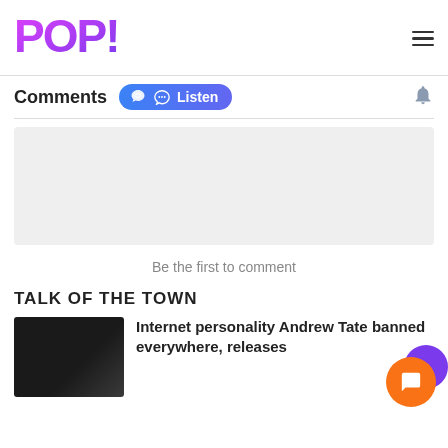POP!
Comments
Be the first to comment
TALK OF THE TOWN
Internet personality Andrew Tate banned everywhere, releases
[Figure (photo): Dark photo of Andrew Tate]